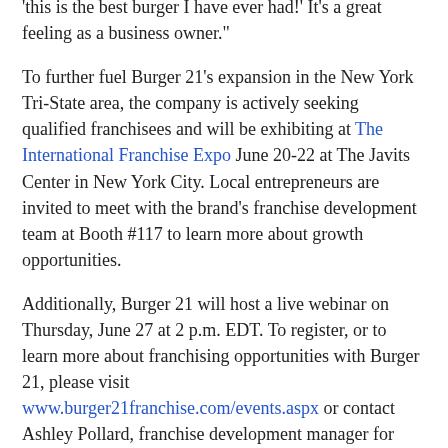'this is the best burger I have ever had!' It's a great feeling as a business owner."
To further fuel Burger 21's expansion in the New York Tri-State area, the company is actively seeking qualified franchisees and will be exhibiting at The International Franchise Expo June 20-22 at The Javits Center in New York City. Local entrepreneurs are invited to meet with the brand's franchise development team at Booth #117 to learn more about growth opportunities.
Additionally, Burger 21 will host a live webinar on Thursday, June 27 at 2 p.m. EDT. To register, or to learn more about franchising opportunities with Burger 21, please visit www.burger21franchise.com/events.aspx or contact Ashley Pollard, franchise development manager for Burger 21, at 813-425-6252 or apollard@burger21.com.
Since launching its aggressive growth plan in fall